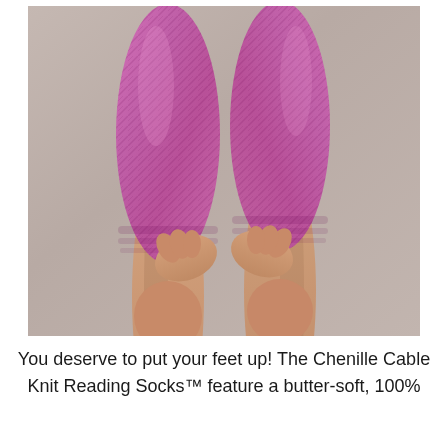[Figure (photo): A person lying down with legs raised up in the air, wearing pink cable-knit reading socks that extend up the calves. The person's hands are pulling up the socks near the ankle area. Background is a neutral gray.]
You deserve to put your feet up! The Chenille Cable Knit Reading Socks™ feature a butter-soft, 100%